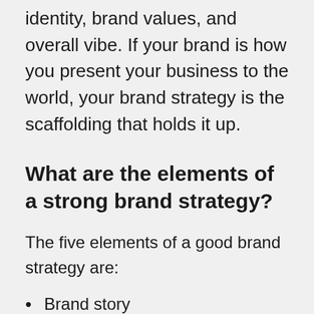identity, brand values, and overall vibe. If your brand is how you present your business to the world, your brand strategy is the scaffolding that holds it up.
What are the elements of a strong brand strategy?
The five elements of a good brand strategy are:
Brand story
Brand voice